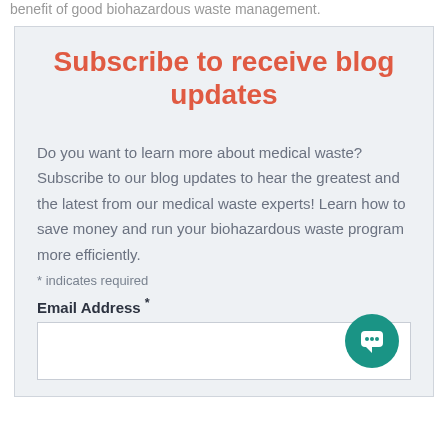benefit of good biohazardous waste management.
Subscribe to receive blog updates
Do you want to learn more about medical waste? Subscribe to our blog updates to hear the greatest and the latest from our medical waste experts! Learn how to save money and run your biohazardous waste program more efficiently.
* indicates required
Email Address *